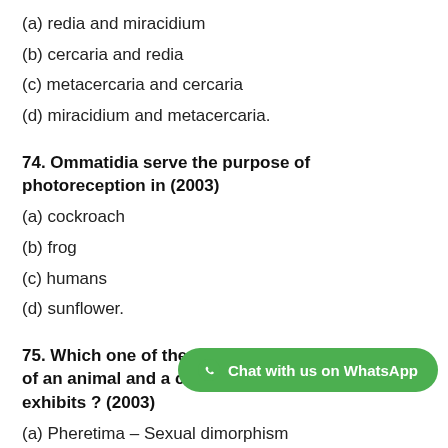(a) redia and miracidium
(b) cercaria and redia
(c) metacercaria and cercaria
(d) miracidium and metacercaria.
74. Ommatidia serve the purpose of photoreception in (2003)
(a) cockroach
(b) frog
(c) humans
(d) sunflower.
75. Which one of the following is a matching pair of an animal and a certain phenomenon it exhibits ? (2003)
(a) Pheretima – Sexual dimorphism
(b) Musca – Complete metamorphosis
(c) Chameleon – Mimicry
(d) Taenia – Bioluminescence